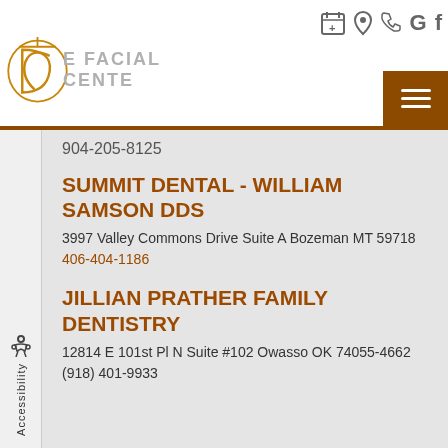[Figure (logo): The Facial Center logo with stylized DC monogram in gold/brown]
THE FACIAL CENTER
904-205-8125
SUMMIT DENTAL - WILLIAM SAMSON DDS
3997 Valley Commons Drive Suite A Bozeman MT 59718
406-404-1186
JILLIAN PRATHER FAMILY DENTISTRY
12814 E 101st Pl N Suite #102 Owasso OK 74055-4662
(918) 401-9933